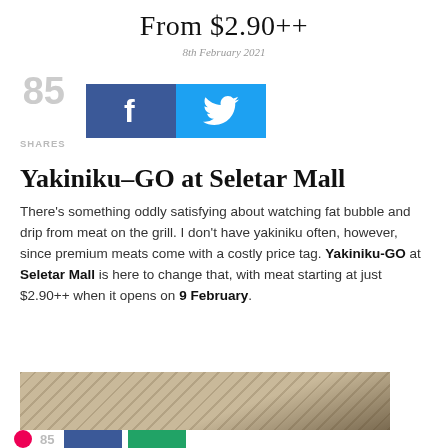From $2.90++
8th February 2021
[Figure (infographic): Social share count showing 85 shares with Facebook and Twitter buttons]
Yakiniku–GO at Seletar Mall
There's something oddly satisfying about watching fat bubble and drip from meat on the grill. I don't have yakiniku often, however, since premium meats come with a costly price tag. Yakiniku-GO at Seletar Mall is here to change that, with meat starting at just $2.90++ when it opens on 9 February.
[Figure (photo): Photo of food/meat on a grill, partially visible at the bottom of the page]